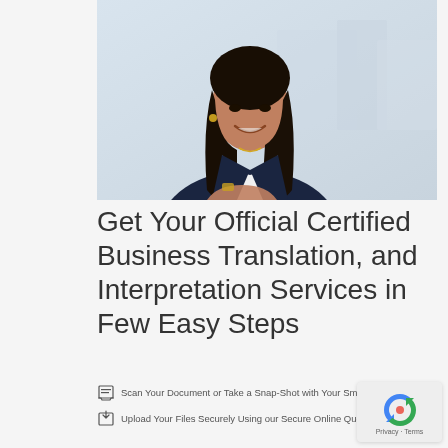[Figure (photo): Professional woman with dark hair, wearing a navy blazer and white blouse, smiling, photographed in a bright office environment]
Get Your Official Certified Business Translation, and Interpretation Services in Few Easy Steps
Scan Your Document or Take a Snap-Shot with Your Smart Phone
Upload Your Files Securely Using our Secure Online Quotation Form